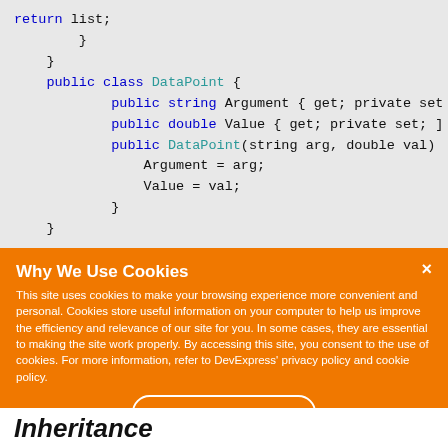return list;
        }
    }
    public class DataPoint {
        public string Argument { get; private set
        public double Value { get; private set; ]
        public DataPoint(string arg, double val)
            Argument = arg;
            Value = val;
        }
    }
Why We Use Cookies
This site uses cookies to make your browsing experience more convenient and personal. Cookies store useful information on your computer to help us improve the efficiency and relevance of our site for you. In some cases, they are essential to making the site work properly. By accessing this site, you consent to the use of cookies. For more information, refer to DevExpress' privacy policy and cookie policy.
I UNDERSTAND
Inheritance